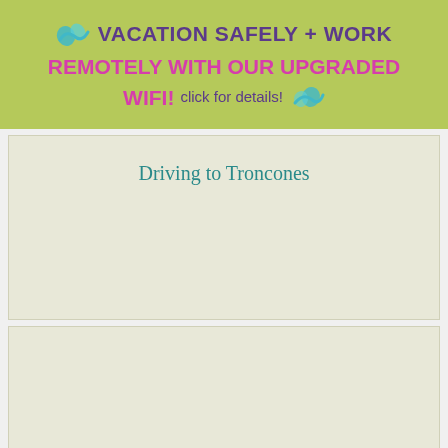VACATION SAFELY + WORK REMOTELY WITH OUR UPGRADED WIFI! click for details!
Driving to Troncones
Map & arrival info